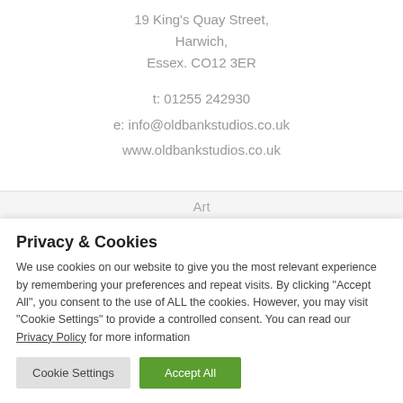19 King's Quay Street,
Harwich,
Essex. CO12 3ER
t: 01255 242930
e: info@oldbankstudios.co.uk
www.oldbankstudios.co.uk
Art
Privacy & Cookies
We use cookies on our website to give you the most relevant experience by remembering your preferences and repeat visits. By clicking "Accept All", you consent to the use of ALL the cookies. However, you may visit "Cookie Settings" to provide a controlled consent. You can read our Privacy Policy for more information